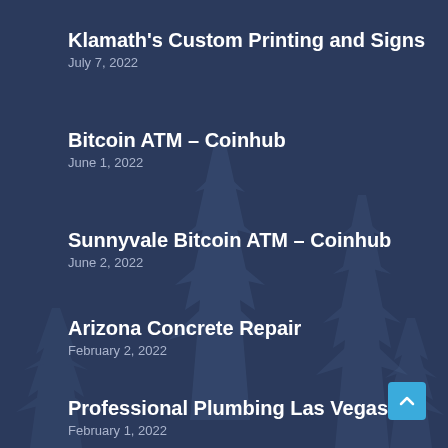[Figure (illustration): Dark navy blue background with faint pine tree silhouettes]
Klamath's Custom Printing and Signs
July 7, 2022
Bitcoin ATM – Coinhub
June 1, 2022
Sunnyvale Bitcoin ATM – Coinhub
June 2, 2022
Arizona Concrete Repair
February 2, 2022
Professional Plumbing Las Vegas
February 1, 2022